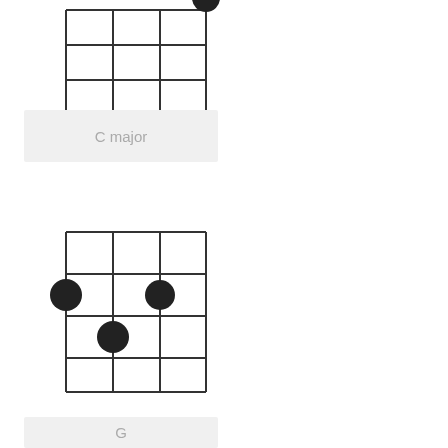[Figure (other): Ukulele chord diagram for C major showing a grid of 4 strings and 4 frets with one dot on the top-right string at the top fret]
C major
[Figure (other): Ukulele chord diagram for G showing a grid of 4 strings and 4 frets with dots on the second fret of strings 1, 3, and 4]
G